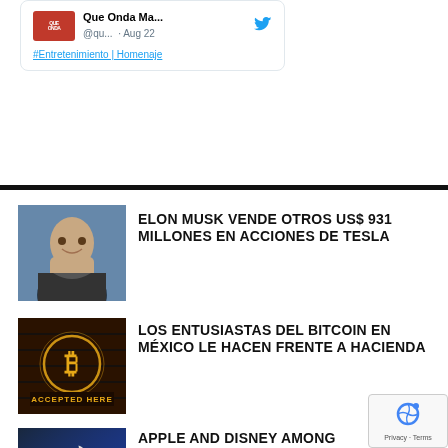[Figure (screenshot): Tweet card from Que Onda Ma... @qu... Aug 22 with hashtag #Entretenimiento | Homenaje]
[Figure (photo): Photo of Elon Musk smiling, wearing dark jacket]
ELON MUSK VENDE OTROS US$ 931 MILLONES EN ACCIONES DE TESLA
[Figure (photo): Bitcoin neon sign with text ACCEPTED HERE]
LOS ENTUSIASTAS DEL BITCOIN EN MÉXICO LE HACEN FRENTE A HACIENDA
[Figure (photo): Apple logo on glass building]
APPLE AND DISNEY AMONG COMPANIES BACKING GROUPS AGAINST US CLIMA BILL